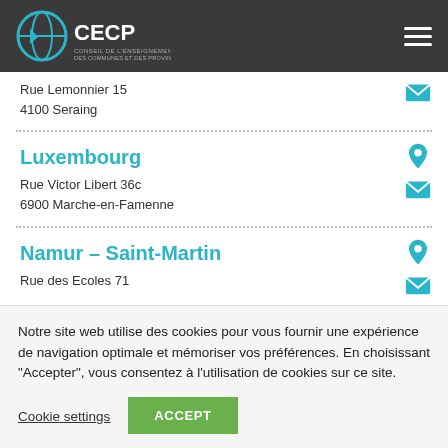CECP
Rue Lemonnier 15
4100 Seraing
Luxembourg
Rue Victor Libert 36c
6900 Marche-en-Famenne
Namur – Saint-Martin
Rue des Ecoles 71
Notre site web utilise des cookies pour vous fournir une expérience de navigation optimale et mémoriser vos préférences. En choisissant "Accepter", vous consentez à l'utilisation de cookies sur ce site.
Cookie settings
ACCEPT